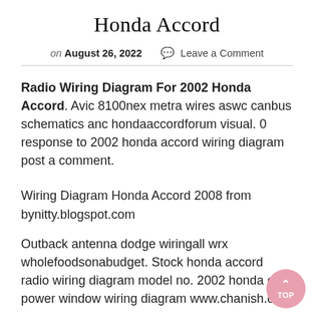Honda Accord
on August 26, 2022  💬 Leave a Comment
Radio Wiring Diagram For 2002 Honda Accord. Avic 8100nex metra wires aswc canbus schematics anc hondaaccordforum visual. 0 response to 2002 honda accord wiring diagram post a comment.
Wiring Diagram Honda Accord 2008 from bynitty.blogspot.com
Outback antenna dodge wiringall wrx wholefoodsonabudget. Stock honda accord radio wiring diagram model no. 2002 honda crv power window wiring diagram www.chanish.org.